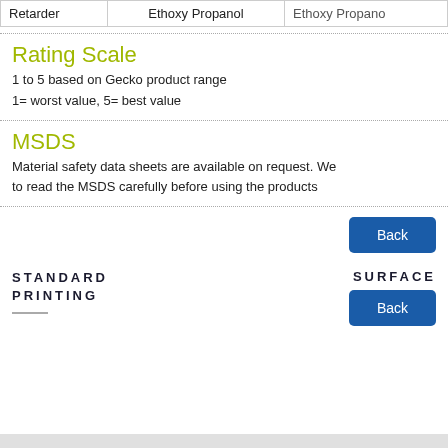|  |  |  |
| --- | --- | --- |
| Retarder | Ethoxy Propanol | Ethoxy Propano |
Rating Scale
1 to 5 based on Gecko product range
1= worst value, 5= best value
MSDS
Material safety data sheets are available on request. We to read the MSDS carefully before using the products
Back
STANDARD PRINTING
SURFACE
Back